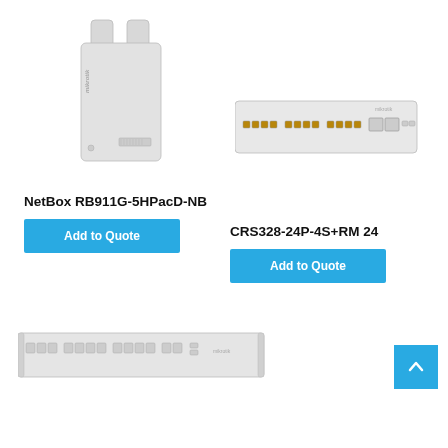[Figure (photo): MikroTik NetBox RB911G-5HPacD-NB outdoor wireless device, white rectangular enclosure with antenna ports]
[Figure (photo): MikroTik CRS328-24P-4S+RM 24 port network switch, white rack-mount unit with multiple ethernet ports]
NetBox RB911G-5HPacD-NB
CRS328-24P-4S+RM 24
Add to Quote
Add to Quote
[Figure (photo): MikroTik rack-mount network switch, white 1U device with multiple SFP/RJ45 ports]